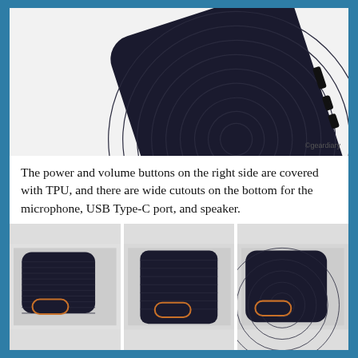[Figure (photo): Close-up photo of a black TPU phone case with concentric ring texture pattern on the back, showing an orange-accented logo badge and buttons on the right side. White background. Watermark: ©geardiary.]
The power and volume buttons on the right side are covered with TPU, and there are wide cutouts on the bottom for the microphone, USB Type-C port, and speaker.
[Figure (photo): Three side-by-side photos of the black textured phone case showing different angles: left photo shows bottom/corner view with orange badge visible, center photo shows side profile, right photo shows corner detail with orange accent.]